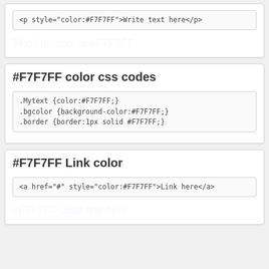<p style="color:#F7F7FF">Write text here</p>
Text I'm color is #F7F7FF
#F7F7FF color css codes
.Mytext {color:#F7F7FF;}
.bgcolor {background-color:#F7F7FF;}
.border {border:1px solid #F7F7FF;}
#F7F7FF Link color
<a href="#" style="color:#F7F7FF">Link here</a>
#F7F7FF color link here